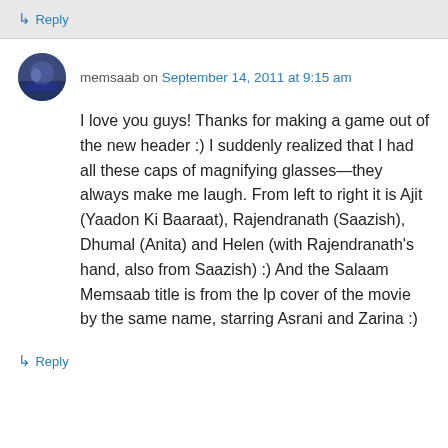↳ Reply
memsaab on September 14, 2011 at 9:15 am
I love you guys! Thanks for making a game out of the new header :) I suddenly realized that I had all these caps of magnifying glasses—they always make me laugh. From left to right it is Ajit (Yaadon Ki Baaraat), Rajendranath (Saazish), Dhumal (Anita) and Helen (with Rajendranath's hand, also from Saazish) :) And the Salaam Memsaab title is from the lp cover of the movie by the same name, starring Asrani and Zarina :)
↳ Reply